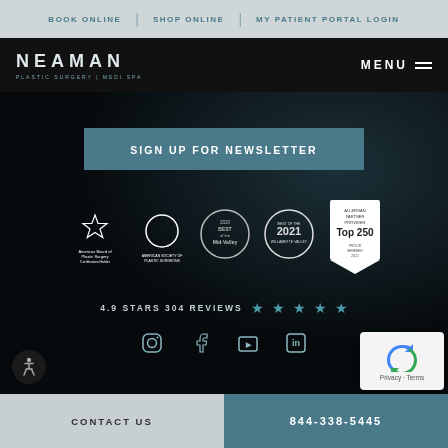BOOK ONLINE | SHOP ONLINE | MY PATIENT PORTAL LOGIN
NEAMAN PLASTIC SURGERY | MEDI SPA
MENU
SIGN UP FOR NEWSLETTER
[Figure (logo): Multiple certification badges: American Board of Plastic Surgery, American Society of Plastic Surgeons, Best of the Mid-Valley 2020, Best of the Willamette Valley 2021, Allergan Partner Provider Top 250 Proud Member 2021]
4.9 STARS 304 REVIEWS
[Figure (infographic): Social media icons: Instagram, Facebook, YouTube, LinkedIn]
CONTACT US | 844-338-5445